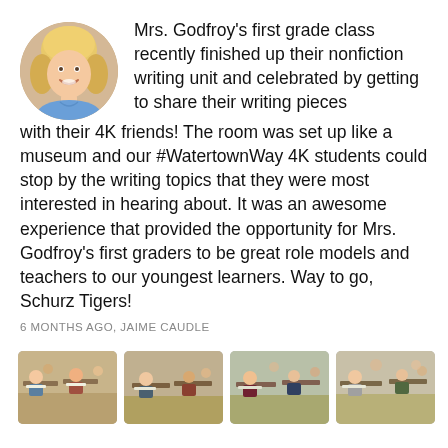[Figure (photo): Circular avatar photo of a blonde woman smiling, Mrs. Godfroy]
Mrs. Godfroy's first grade class recently finished up their nonfiction writing unit and celebrated by getting to share their writing pieces with their 4K friends! The room was set up like a museum and our #WatertownWay 4K students could stop by the writing topics that they were most interested in hearing about. It was an awesome experience that provided the opportunity for Mrs. Godfroy's first graders to be great role models and teachers to our youngest learners. Way to go, Schurz Tigers!
6 MONTHS AGO, JAIME CAUDLE
[Figure (photo): Classroom photo of students sitting at desks working on writing]
[Figure (photo): Classroom photo of students sitting at desks working on writing]
[Figure (photo): Classroom photo of students sitting at desks working on writing]
[Figure (photo): Classroom photo of students sitting at desks working on writing]